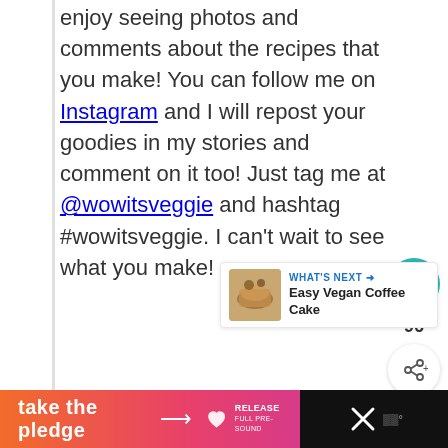enjoy seeing photos and comments about the recipes that you make! You can follow me on Instagram and I will repost your goodies in my stories and comment on it too! Just tag me at @wowitsveggie and hashtag #wowitsveggie. I can't wait to see what you make!
[Figure (screenshot): What's Next card showing Easy Vegan Coffee Cake with thumbnail image]
[Figure (infographic): Take the pledge banner with gradient orange-to-pink background, arrow, Release logo, and Ed logo; black bar with X button on right]